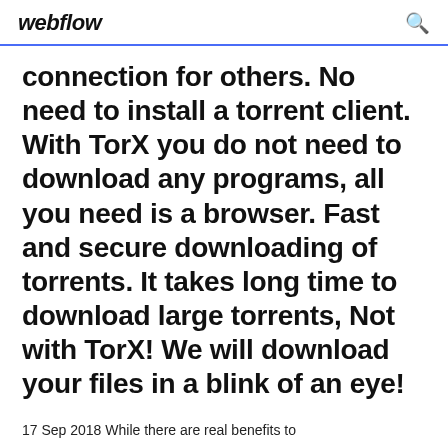webflow
connection for others. No need to install a torrent client. With TorX you do not need to download any programs, all you need is a browser. Fast and secure downloading of torrents. It takes long time to download large torrents, Not with TorX! We will download your files in a blink of an eye!
17 Sep 2018 While there are real benefits to torrenting even when we disregard the internet cafe from where we share that slow it